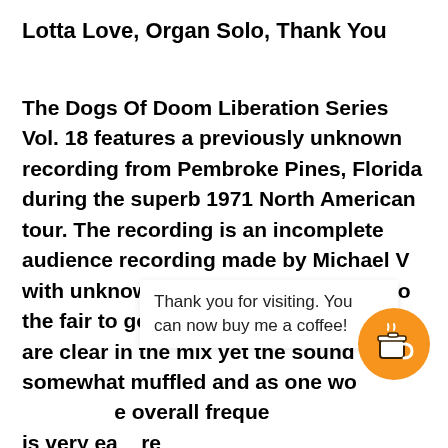Lotta Love, Organ Solo, Thank You
The Dogs Of Doom Liberation Series Vol. 18 features a previously unknown recording from Pembroke Pines, Florida during the superb 1971 North American tour. The recording is an incomplete audience recording made by Michael V with unknown equipment that falls into the fair to good range. The instruments are clear in the mix yet the sound is somewhat muffled and as one wo[uld expect th]e overall freque[ncy response ]is very ea[sily…]re [audible. The rhythm instruments are…]
Thank you for visiting. You can now buy me a coffee!